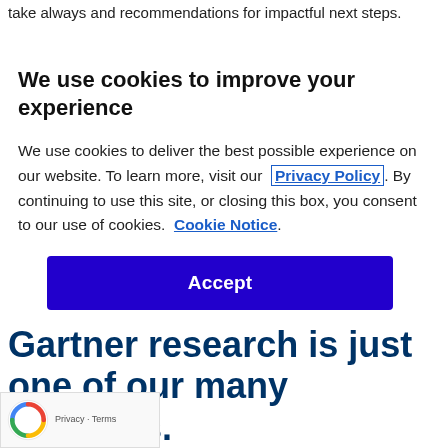take always and recommendations for impactful next steps.
We use cookies to improve your experience
We use cookies to deliver the best possible experience on our website. To learn more, visit our Privacy Policy. By continuing to use this site, or closing this box, you consent to our use of cookies. Cookie Notice.
Accept
Gartner research is just one of our many offerings.
[Figure (logo): reCAPTCHA badge with Privacy and Terms links]